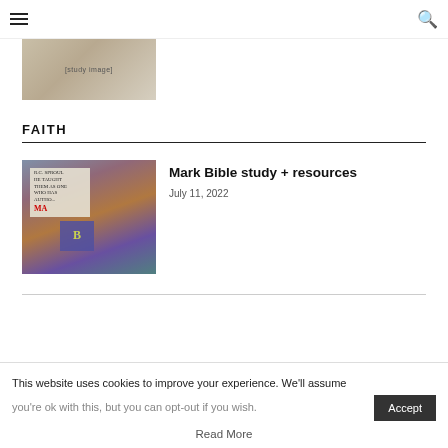Navigation bar with hamburger menu and search icon
[Figure (photo): Partial view of a person studying at a desk with papers and books]
FAITH
[Figure (photo): Stack of Bible study books including R.C. Sproul's Mark commentary and other religious study materials]
Mark Bible study + resources
July 11, 2022
This website uses cookies to improve your experience. We'll assume you're ok with this, but you can opt-out if you wish.
Read More